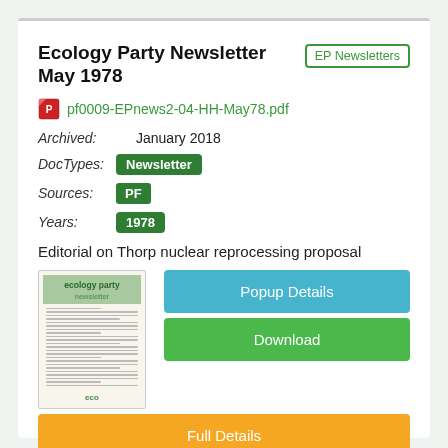Ecology Party Newsletter May 1978
pf0009-EPnews2-04-HH-May78.pdf
Archived: January 2018
DocTypes: Newsletter
Sources: PF
Years: 1978
Editorial on Thorp nuclear reprocessing proposal
[Figure (screenshot): Thumbnail of Ecology Party Newsletter document]
Popup Details
Download
Full Details